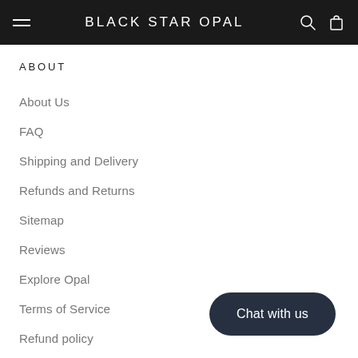BLACK STAR OPAL
ABOUT
About Us
FAQ
Shipping and Delivery
Refunds and Returns
Sitemap
Reviews
Explore Opal
Terms of Service
Refund policy
Chat with us